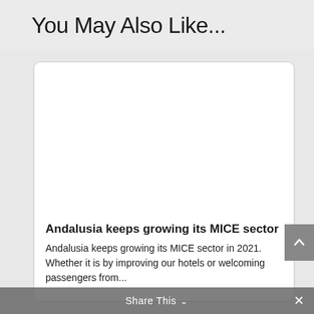You May Also Like...
[Figure (other): Article card with blank white image area for an article about Andalusia MICE sector]
Andalusia keeps growing its MICE sector
Andalusia keeps growing its MICE sector in 2021. Whether it is by improving our hotels or welcoming passengers from...
Share This ∨  ×